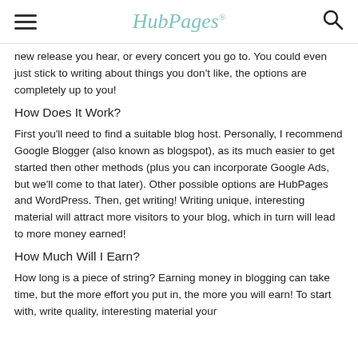HubPages
new release you hear, or every concert you go to. You could even just stick to writing about things you don't like, the options are completely up to you!
How Does It Work?
First you'll need to find a suitable blog host. Personally, I recommend Google Blogger (also known as blogspot), as its much easier to get started then other methods (plus you can incorporate Google Ads, but we'll come to that later). Other possible options are HubPages and WordPress. Then, get writing! Writing unique, interesting material will attract more visitors to your blog, which in turn will lead to more money earned!
How Much Will I Earn?
How long is a piece of string? Earning money in blogging can take time, but the more effort you put in, the more you will earn! To start with, write quality, interesting material your